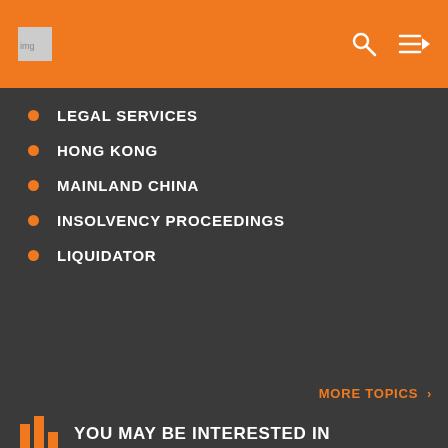LEGAL SERVICES
HONG KONG
MAINLAND CHINA
INSOLVENCY PROCEEDINGS
LIQUIDATOR
MORE TOPICS >
YOU MAY BE INTERESTED IN
10 November 2020
Hong Kong's Future Development Direction: A Centre for Legal, Dispute Resolution and Other Professional Services